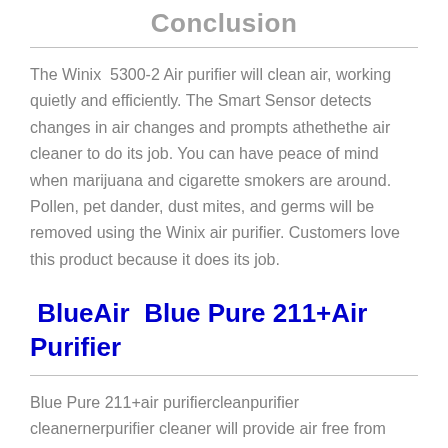Conclusion
The Winix  5300-2 Air purifier will clean air, working quietly and efficiently. The Smart Sensor detects changes in air changes and prompts athethethe air cleaner to do its job. You can have peace of mind when marijuana and cigarette smokers are around. Pollen, pet dander, dust mites, and germs will be removed using the Winix air purifier. Customers love this product because it does its job.
BlueAir  Blue Pure 211+Air Purifier
Blue Pure 211+air purifiercleanpurifier cleanernerpurifier cleaner will provide air free from allergens, dust, mold, smoke, pollen, and